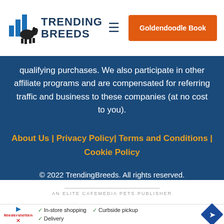Trending Breeds | Goldendoodle Book
qualifying purchases. We also participate in other affiliate programs and are compensated for referring traffic and business to these companies (at no cost to you).
About Us | Privacy Policy | Terms and Conditions | Cookie Policy
© 2022 TrendingBreeds. All rights reserved.
AN ELITE CAFEMEDIA PETS PUBLISHER
[Figure (screenshot): Advertisement banner with play button, brand logo, checkmarks for In-store shopping, Curbside pickup, Delivery, and a blue diamond arrow icon]